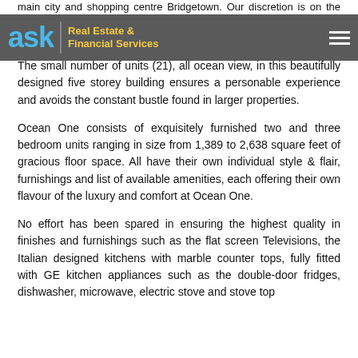ask | Real Estate & Financial Services
main city and shopping centre Bridgetown. Our discretion is on the Maxwell Coast Road, well away from the busy main road and traffic sounds.
The small number of units (21), all ocean view, in this beautifully designed five storey building ensures a personable experience and avoids the constant bustle found in larger properties.
Ocean One consists of exquisitely furnished two and three bedroom units ranging in size from 1,389 to 2,638 square feet of gracious floor space. All have their own individual style & flair, furnishings and list of available amenities, each offering their own flavour of the luxury and comfort at Ocean One.
No effort has been spared in ensuring the highest quality in finishes and furnishings such as the flat screen Televisions, the Italian designed kitchens with marble counter tops, fully fitted with GE kitchen appliances such as the double-door fridges, dishwasher, microwave, electric stove and stove top ...